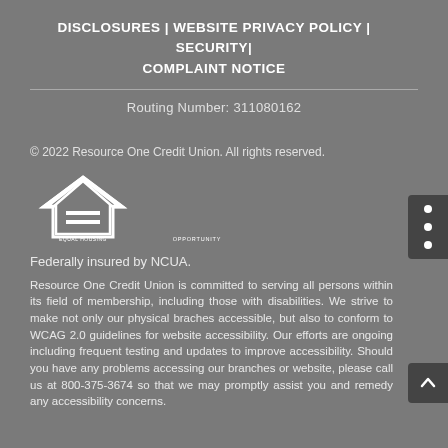DISCLOSURES | WEBSITE PRIVACY POLICY | SECURITY| COMPLAINT NOTICE
Routing Number: 311080162
© 2022 Resource One Credit Union. All rights reserved.
[Figure (logo): Equal Housing Opportunity logo — house shape with equals sign inside, text 'EQUAL HOUSING OPPORTUNITY' below]
Federally insured by NCUA.
Resource One Credit Union is committed to serving all persons within its field of membership, including those with disabilities. We strive to make not only our physical braches accessible, but also to conform to WCAG 2.0 guidelines for website accessibility. Our efforts are ongoing including frequent testing and updates to improve accessibility. Should you have any problems accessing our branches or website, please call us at 800-375-3674 so that we may promptly assist you and remedy any accessibility concerns.